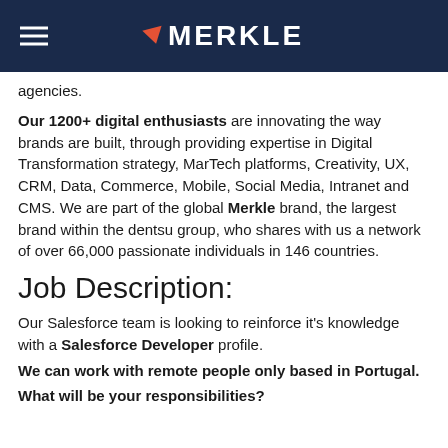MERKLE
agencies.
Our 1200+ digital enthusiasts are innovating the way brands are built, through providing expertise in Digital Transformation strategy, MarTech platforms, Creativity, UX, CRM, Data, Commerce, Mobile, Social Media, Intranet and CMS. We are part of the global Merkle brand, the largest brand within the dentsu group, who shares with us a network of over 66,000 passionate individuals in 146 countries.
Job Description:
Our Salesforce team is looking to reinforce it's knowledge with a Salesforce Developer profile.
We can work with remote people only based in Portugal.
What will be your responsibilities?